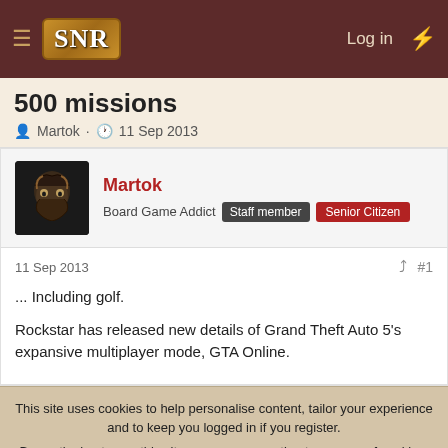SNR | Log in
500 missions
Martok · 11 Sep 2013
Martok
Board Game Addict  Staff member  Senior Citizen
11 Sep 2013  #1
... Including golf.

Rockstar has released new details of Grand Theft Auto 5's expansive multiplayer mode, GTA Online.
This site uses cookies to help personalise content, tailor your experience and to keep you logged in if you register.
By continuing to use this site, you are consenting to our use of cookies.
Accept  Learn more...